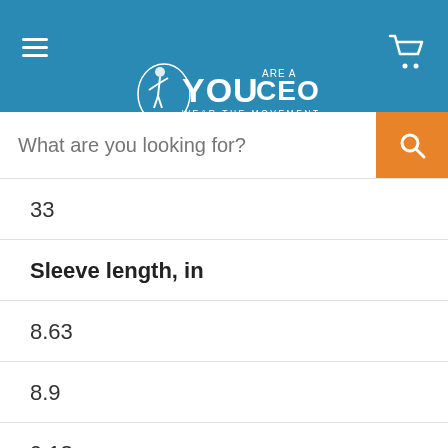[Figure (logo): You Are A CEO logo with tagline 'WEAR THE MOVEMENT LIVE THE LIFE' on blue background header with hamburger menu and cart icon]
33
Sleeve length, in
8.63
8.9
9.18
9.45
9.73